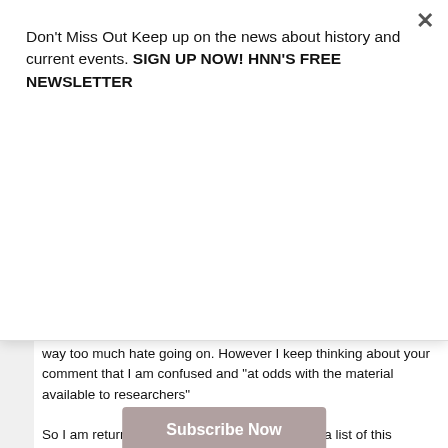Don't Miss Out Keep up on the news about history and current events. SIGN UP NOW! HNN'S FREE NEWSLETTER
[Figure (other): Subscribe Now button (greyed/muted pink background)]
way too much hate going on. However I keep thinking about your comment that I am confused and "at odds with the material available to researchers"
So I am returning to ask you to please give me a list of this material and where to go to it and I will definitely do this research.
Thanks
--------------------------------------
by Mike Weeks on June 18, 2007 at 3:21 PM
Chief White, you must be joking. But perhaps it's simply a continuation of the level of confusion that exists.